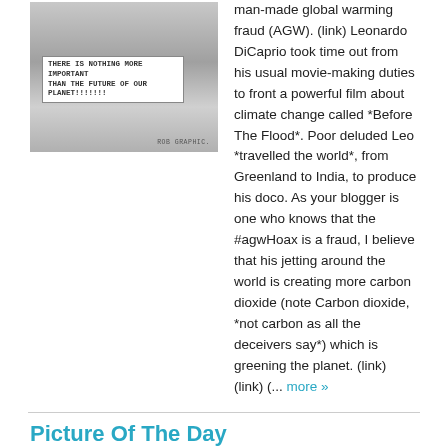[Figure (photo): Grayscale photo of a man (resembling Leonardo DiCaprio) with a meme text overlay reading 'THERE IS NOTHING MORE IMPORTANT THAN THE FUTURE OF OUR PLANET!!!!!!!' and watermark 'ROB GRAPHIC.']
man-made global warming fraud (AGW). (link) Leonardo DiCaprio took time out from his usual movie-making duties to front a powerful film about climate change called *Before The Flood*. Poor deluded Leo *travelled the world*, from Greenland to India, to produce his doco. As your blogger is one who knows that the #agwHoax is a fraud, I believe that his jetting around the world is creating more carbon dioxide (note Carbon dioxide, *not carbon as all the deceivers say*) which is greening the planet. (link) (link) (... more »
Picture Of The Day
War News Updates Editor at War News Updates - 43 minutes ago
[Figure (photo): Black and white photo of two Tupolev Tu-95 turboprop-powered strategic bombers flying in cloudy sky.]
Two Tupolev Tu-95 turboprop-powered strategic bombers. © PHOTO: RUSSIAN DEFENSE MINISTRY